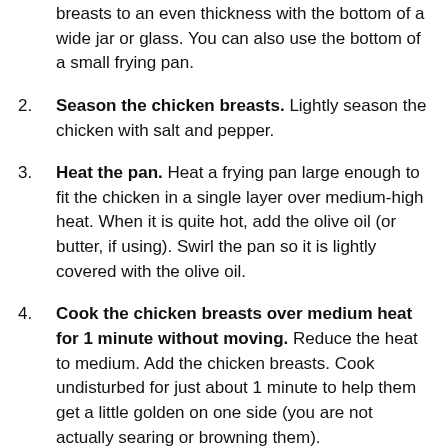breasts to an even thickness with the bottom of a wide jar or glass. You can also use the bottom of a small frying pan.
Season the chicken breasts. Lightly season the chicken with salt and pepper.
Heat the pan. Heat a frying pan large enough to fit the chicken in a single layer over medium-high heat. When it is quite hot, add the olive oil (or butter, if using). Swirl the pan so it is lightly covered with the olive oil.
Cook the chicken breasts over medium heat for 1 minute without moving. Reduce the heat to medium. Add the chicken breasts. Cook undisturbed for just about 1 minute to help them get a little golden on one side (you are not actually searing or browning them).